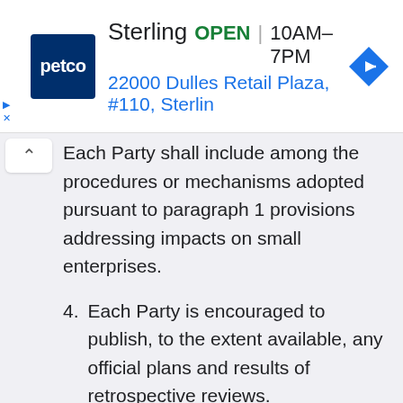[Figure (other): Petco store ad banner showing Sterling location, OPEN status 10AM-7PM, address 22000 Dulles Retail Plaza #110 Sterling, with navigation icon]
Each Party shall include among the procedures or mechanisms adopted pursuant to paragraph 1 provisions addressing impacts on small enterprises.
4. Each Party is encouraged to publish, to the extent available, any official plans and results of retrospective reviews.
Article 28.14:  Suggestions for Improvement